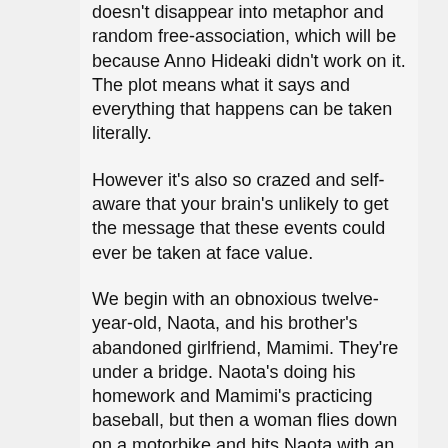doesn't disappear into metaphor and random free-association, which will be because Anno Hideaki didn't work on it. The plot means what it says and everything that happens can be taken literally.
However it's also so crazed and self-aware that your brain's unlikely to get the message that these events could ever be taken at face value.
We begin with an obnoxious twelve-year-old, Naota, and his brother's abandoned girlfriend, Mamimi. They're under a bridge. Naota's doing his homework and Mamimi's practicing baseball, but then a woman flies down on a motorbike and hits Naota with an electric guitar, causing a horn to grow on his forehead that will soon-ish become about a thousand times bigger than Naota and turn into a giant robot. See what I mean?
Crucially, all this is fun and funny. The